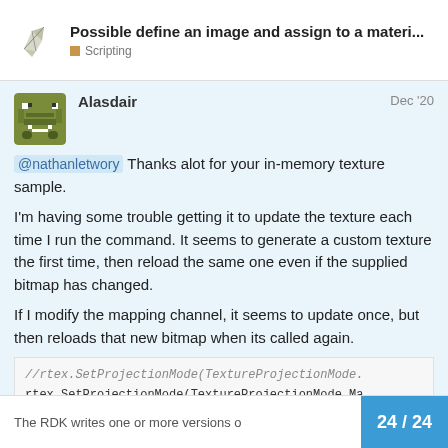Possible define an image and assign to a materi... | Scripting
Alasdair Dec '20
@nathanletwory Thanks alot for your in-memory texture sample.

I'm having some trouble getting it to update the texture each time I run the command. It seems to generate a custom texture the first time, then reload the same one even if the supplied bitmap has changed.

If I modify the mapping channel, it seems to update once, but then reloads that new bitmap when its called again.
//rtex.SetProjectionMode(TextureProjectionMode.
rtex.SetProjectionMode(TextureProjectionMode.Ma
The RDK writes one or more versions o
24 / 24